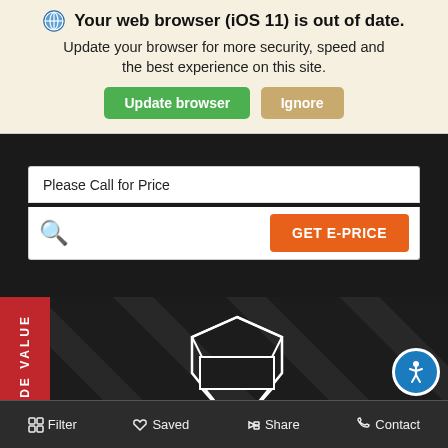[Figure (screenshot): Browser update warning banner with globe icon, text 'Your web browser (iOS 11) is out of date. Update your browser for more security, speed and the best experience on this site.' with green 'Update browser' and tan 'Ignore' buttons]
Please Call for Price
[Figure (screenshot): Search bar row with magnifying glass icon on left and orange 'GET E-PRICE' button on right]
[Figure (screenshot): Dark section with diagonal stripe pattern, red 'TRADE VALUE' vertical tab on left, Harley-Davidson shield logo in center, accessibility icon button bottom right, and bottom navigation bar with Filter, Saved, Share, Contact items]